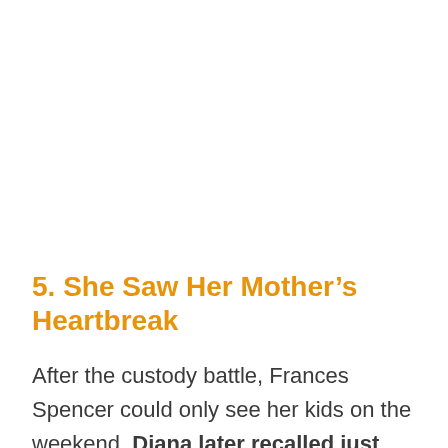5. She Saw Her Mother's Heartbreak
After the custody battle, Frances Spencer could only see her kids on the weekend. Diana later recalled just how painful the